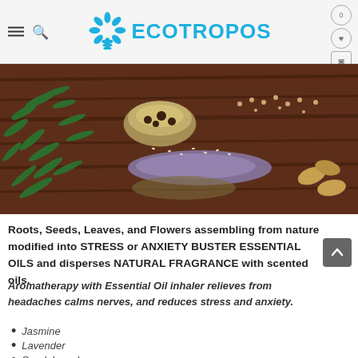ECOTROPOS
[Figure (photo): Herbs, seeds, lavender, and essential oils arranged on a wooden surface with green fern leaves on the left side.]
Roots, Seeds, Leaves, and Flowers assembling from nature modified into STRESS or ANXIETY BUSTER ESSENTIAL OILS and disperses NATURAL FRAGRANCE with scented oils.
Aromatherapy with Essential Oil inhaler relieves from headaches calms nerves, and reduces stress and anxiety.
Jasmine
Lavender
Sandalwood